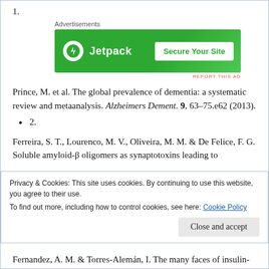1.
[Figure (screenshot): Jetpack advertisement banner: green background with Jetpack logo and 'Secure Your Site' button]
Prince, M. et al. The global prevalence of dementia: a systematic review and metaanalysis. Alzheimers Dement. 9, 63–75.e62 (2013).
2.
Ferreira, S. T., Lourenco, M. V., Oliveira, M. M. & De Felice, F. G. Soluble amyloid-β oligomers as synaptotoxins leading to
Privacy & Cookies: This site uses cookies. By continuing to use this website, you agree to their use.
To find out more, including how to control cookies, see here: Cookie Policy
Fernandez, A. M. & Torres-Alemán, I. The many faces of insulin-